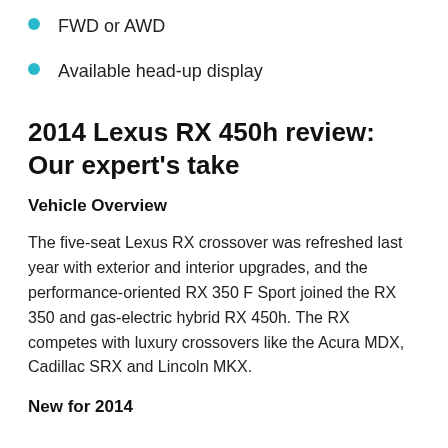FWD or AWD
Available head-up display
2014 Lexus RX 450h review: Our expert's take
Vehicle Overview
The five-seat Lexus RX crossover was refreshed last year with exterior and interior upgrades, and the performance-oriented RX 350 F Sport joined the RX 350 and gas-electric hybrid RX 450h. The RX competes with luxury crossovers like the Acura MDX, Cadillac SRX and Lincoln MKX.
New for 2014